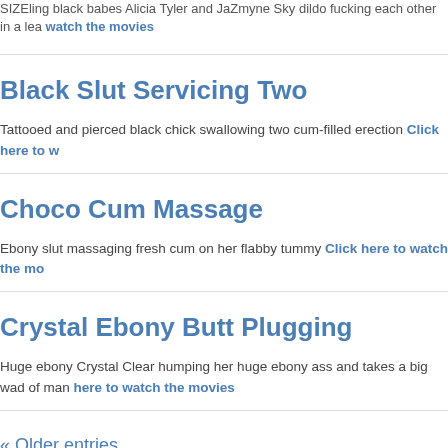SIZEling black babes Alicia Tyler and Jazmyne Sky dildo fucking each other in a lea... watch the movies
Black Slut Servicing Two
Tattooed and pierced black chick swallowing two cum-filled erection Click here to w...
Choco Cum Massage
Ebony slut massaging fresh cum on her flabby tummy Click here to watch the mo...
Crystal Ebony Butt Plugging
Huge ebony Crystal Clear humping her huge ebony ass and takes a big wad of man... here to watch the movies
« Older entries